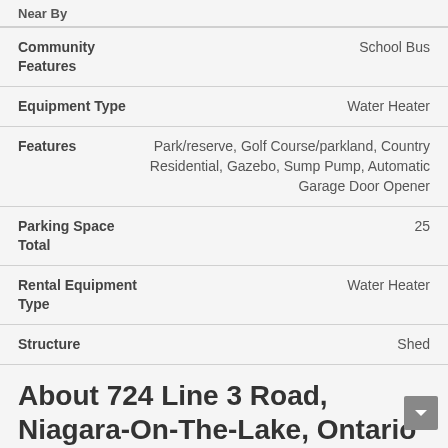Near By
| Field | Value |
| --- | --- |
| Community Features | School Bus |
| Equipment Type | Water Heater |
| Features | Park/reserve, Golf Course/parkland, Country Residential, Gazebo, Sump Pump, Automatic Garage Door Opener |
| Parking Space Total | 25 |
| Rental Equipment Type | Water Heater |
| Structure | Shed |
About 724 Line 3 Road, Niagara-On-The-Lake, Ontario